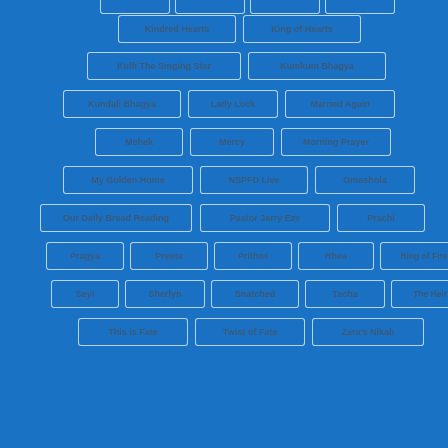[Figure (other): Tag cloud of TV show names arranged in rows on a blue background. Each tag is in a white-bordered rectangle. Shows include: Kindred Hearts, King of Hearts, Kulfi The Singing Star, Kumkum Bhagya, Kundali Bhagya, Lady Luck, Married Again, Mehek, Mercy, Morning Prayer, My Golden Home, NSPFD Live, Omashola, Our Daily Bread Reading, Pastor Jerry Eze, Prachi, Pragya, Preeta, Prithwi, Rhea, Ring of Fire, Seyi, Sherlyn, Snatched, Tacha, The Heir, This is Fate, Twist of Fate, Zara's Nikah]